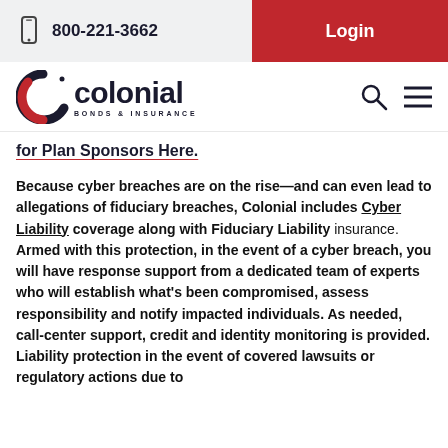800-221-3662  |  Login
[Figure (logo): Colonial Bonds & Insurance logo with stylized C icon in dark navy and red]
for Plan Sponsors Here.
Because cyber breaches are on the rise—and can even lead to allegations of fiduciary breaches, Colonial includes Cyber Liability coverage along with Fiduciary Liability insurance.  Armed with this protection, in the event of a cyber breach, you will have response support from a dedicated team of experts who will establish what's been compromised, assess responsibility and notify impacted individuals. As needed, call-center support, credit and identity monitoring is provided. Liability protection in the event of covered lawsuits or regulatory actions due to